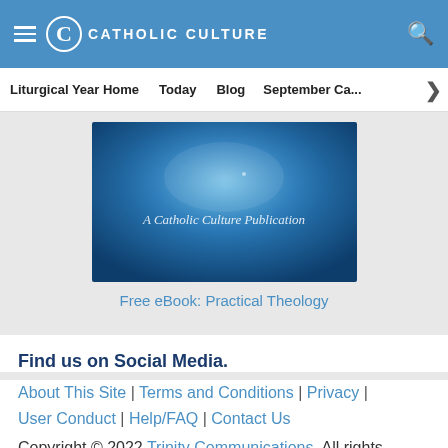CATHOLIC CULTURE
Liturgical Year Home | Today | Blog | September Ca...
[Figure (illustration): A Catholic Culture Publication book cover — blue gradient background with text 'A Catholic Culture Publication']
Free eBook: Practical Theology
Find us on Social Media.
About This Site | Terms and Conditions | Privacy | User Conduct | Help/FAQ | Contact Us
Copyright © 2022 Trinity Communications. All rights reserved.